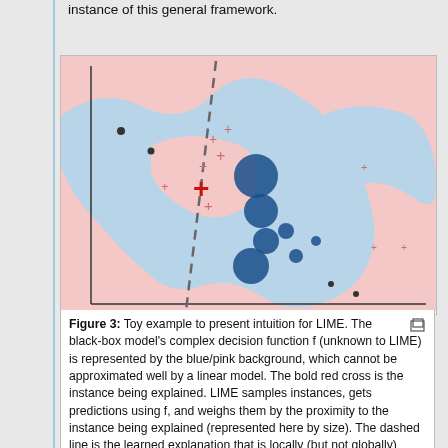instance of this general framework.
[Figure (illustration): Toy example visualization for LIME. Blue and pink background regions show a complex decision boundary. Dark blue circles of varying sizes represent sampled instances weighted by proximity. Red cross marks indicate positive class samples. A large bold red cross marks the instance being explained. A dashed line shows the locally learned linear explanation boundary.]
Figure 3: Toy example to present intuition for LIME. The black-box model's complex decision function f (unknown to LIME) is represented by the blue/pink background, which cannot be approximated well by a linear model. The bold red cross is the instance being explained. LIME samples instances, gets predictions using f, and weighs them by the proximity to the instance being explained (represented here by size). The dashed line is the learned explanation that is locally (but not globally) faithful.